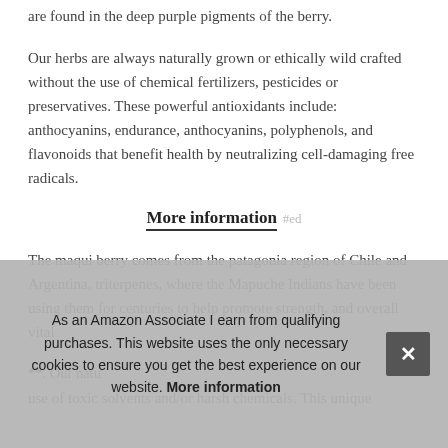are found in the deep purple pigments of the berry.
Our herbs are always naturally grown or ethically wild crafted without the use of chemical fertilizers, pesticides or preservatives. These powerful antioxidants include: anthocyanins, endurance, anthocyanins, polyphenols, and flavonoids that benefit health by neutralizing cell-damaging free radicals.
More information #ed
The maqui berry comes from the patagonia region of Chile and Argentina, triterpenes, where the Mapuche Indians have been using them for centuries to help promote strength and overall vital
**. Our natural...
use of toxic solvents and/or harsh chemicals. This unique
As an Amazon Associate I earn from qualifying purchases. This website uses the only necessary cookies to ensure you get the best experience on our website. More information